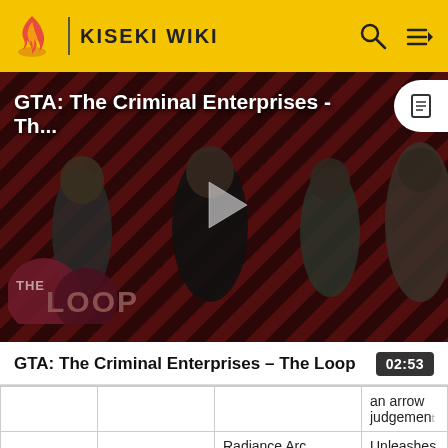KISEKI WIKI
[Figure (screenshot): Video thumbnail for 'GTA: The Criminal Enterprises - The Loop' showing characters on a red diagonal-striped background with a play button overlay and 'THE LOOP' branding in the lower left.]
GTA: The Criminal Enterprises - The Loop
02:53
|  |  |  | an arrow judgemen |
|  | Radiance Arc | Unleashes radiant ar |